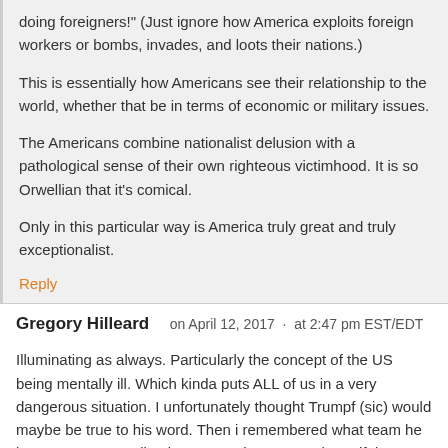'Poor innocent America is being taken advantage by those evil doing foreigners!' (Just ignore how America exploits foreign workers or bombs, invades, and loots their nations.)
This is essentially how Americans see their relationship to the world, whether that be in terms of economic or military issues.
The Americans combine nationalist delusion with a pathological sense of their own righteous victimhood. It is so Orwellian that it's comical.
Only in this particular way is America truly great and truly exceptionalist.
Reply
Gregory Hilleard   on April 12, 2017  ·  at 2:47 pm EST/EDT
Illuminating as always. Particularly the concept of the US being mentally ill. Which kinda puts ALL of us in a very dangerous situation. I unfortunately thought Trumpf (sic) would maybe be true to his word. Then i remembered what team he is on. As an Australian it's very sad to see our beautiful country being sold out to Imperialist interests. The British used us to test nukes, the